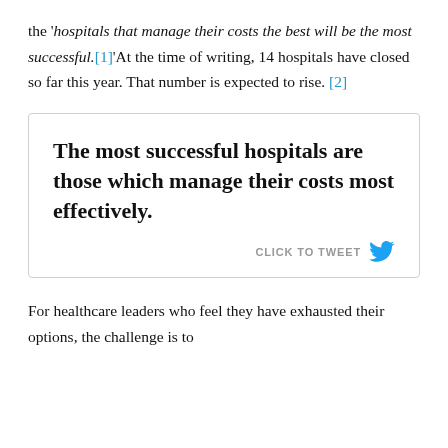the 'hospitals that manage their costs the best will be the most successful.[1]' At the time of writing, 14 hospitals have closed so far this year. That number is expected to rise. [2]
[Figure (other): Pull quote tweet box: 'The most successful hospitals are those which manage their costs most effectively.' with a CLICK TO TWEET button and Twitter bird icon.]
For healthcare leaders who feel they have exhausted their options, the challenge is to